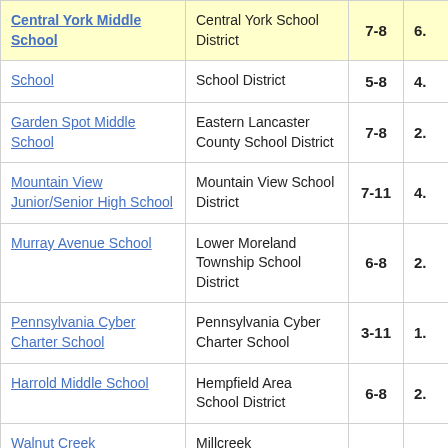| School | District | Grades |  |
| --- | --- | --- | --- |
| Central York Middle School | Central York School District | 7-8 | 6. |
| School | School District | 5-8 | 4. |
| Garden Spot Middle School | Eastern Lancaster County School District | 7-8 | 2. |
| Mountain View Junior/Senior High School | Mountain View School District | 7-11 | 4. |
| Murray Avenue School | Lower Moreland Township School District | 6-8 | 2. |
| Pennsylvania Cyber Charter School | Pennsylvania Cyber Charter School | 3-11 | 1. |
| Harrold Middle School | Hempfield Area School District | 6-8 | 2. |
| Walnut Creek | Millcreek |  |  |